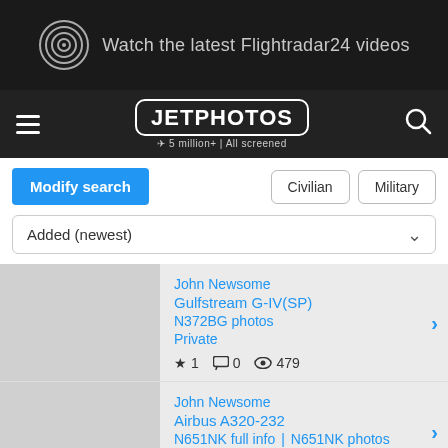[Figure (screenshot): Flightradar24 advertisement banner with circular logo and text 'Watch the latest Flightradar24 videos']
[Figure (logo): JetPhotos logo in navbar with hamburger menu and search icon. Text: JETPHOTOS, 5 million+ | All screened]
Modify search | Civilian | Military
Added (newest)
John Newsome
Gulfstream G-IV(SP)
N372BG photos
Private
★ 1  💬 0  👁 479
John Newsome
Airbus A320-232
N651NK full info | N651NK photos
Spirit Airlines